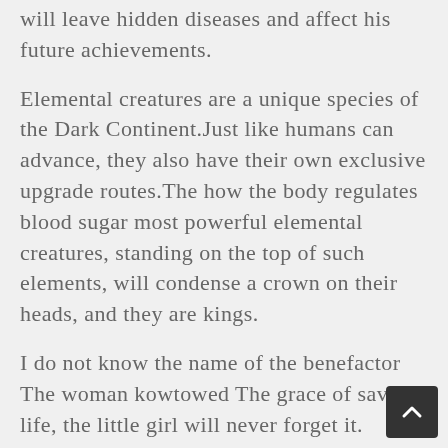will leave hidden diseases and affect his future achievements.
Elemental creatures are a unique species of the Dark Continent.Just like humans can advance, they also have their own exclusive upgrade routes.The how the body regulates blood sugar most powerful elemental creatures, standing on the top of such elements, will condense a crown on their heads, and they are kings.
I do not know the name of the benefactor The woman kowtowed The grace of saving life, the little girl will never forget it.
But now, the mouth is called Sun Zongshi, bowing and thanking.This is what a master is mentality has changed.It means that Sun Mo is a